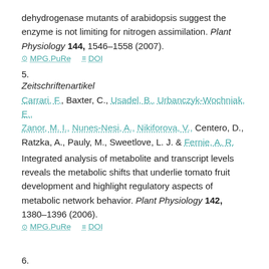dehydrogenase mutants of arabidopsis suggest the enzyme is not limiting for nitrogen assimilation. Plant Physiology 144, 1546–1558 (2007).
⊙ MPG.PuRe   ≡ DOI
5.
Zeitschriftenartikel
Carrari, F., Baxter, C., Usadel, B., Urbanczyk-Wochniak, E., Zanor, M. I., Nunes-Nesi, A., Nikiforova, V., Centero, D., Ratzka, A., Pauly, M., Sweetlove, L. J. & Fernie, A. R.
Integrated analysis of metabolite and transcript levels reveals the metabolic shifts that underlie tomato fruit development and highlight regulatory aspects of metabolic network behavior. Plant Physiology 142, 1380–1396 (2006).
⊙ MPG.PuRe   ≡ DOI
6.